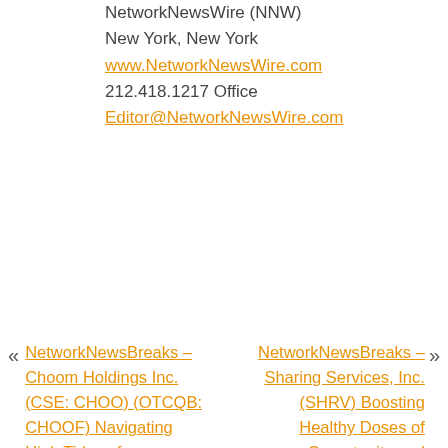NetworkNewsWire (NNW)
New York, New York
www.NetworkNewsWire.com
212.418.1217 Office
Editor@NetworkNewsWire.com
NetworkNewsBreaks – Choom Holdings Inc. (CSE: CHOO) (OTCQB: CHOOF) Navigating High Tides of Canadian Cannabis, Prepping to Surf Opportunity
NetworkNewsBreaks – Sharing Services, Inc. (SHRV) Boosting Healthy Doses of Opportunity and Success in Direct Marketing